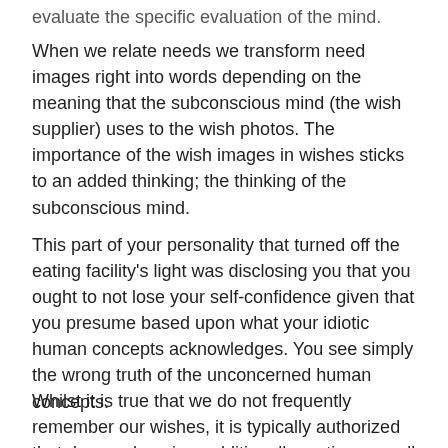… evaluate the specific evaluation of the mind.
When we relate needs we transform need images right into words depending on the meaning that the subconscious mind (the wish supplier) uses to the wish photos. The importance of the wish images in wishes sticks to an added thinking; the thinking of the subconscious mind.
This part of your personality that turned off the eating facility's light was disclosing you that you ought to not lose your self-confidence given that you presume based upon what your idiotic human concepts acknowledges. You see simply the wrong truth of the unconcerned human concepts.
Whilst it is true that we do not frequently remember our wishes, it is typically authorized that dream-sleep is a additionally routine as well as essential part of …